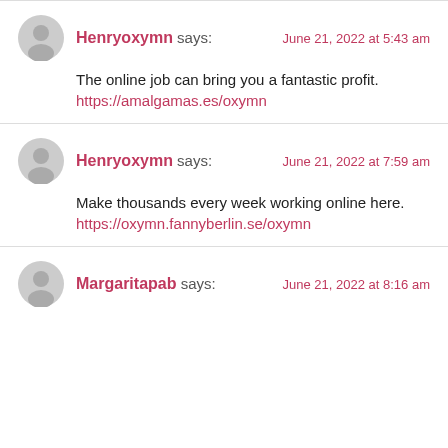Henryoxymn says: — June 21, 2022 at 5:43 am
The online job can bring you a fantastic profit.
https://amalgamas.es/oxymn
Henryoxymn says: — June 21, 2022 at 7:59 am
Make thousands every week working online here.
https://oxymn.fannyberlin.se/oxymn
Margaritapab says: — June 21, 2022 at 8:16 am